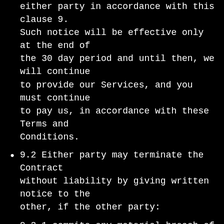days' written notice to terminate is given by either party in accordance with this clause 9. Such notice will be effective only at the end of the 30 day period and until then, we will continue to provide our Services, and you must continue to pay us, in accordance with these Terms and Conditions.
9.2 Either party may terminate the Contract without liability by giving written notice to the other, if the other party:
9.2.1 commits any material breach of any of the provisions of the Contract and, if the breach is capable of remedy, fails to remedy it within 14 days after being given written notice of the breach and requiring it to be remedied;
9.2.2 goes into bankruptcy, liquidation or administration either voluntary or compulsory